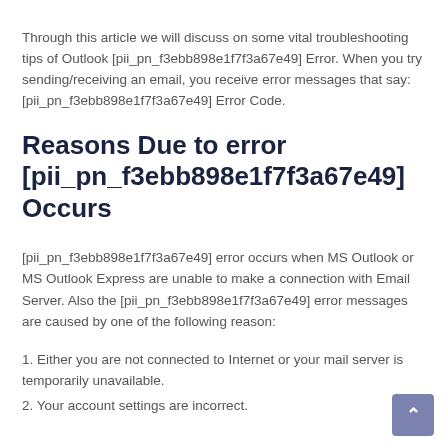Through this article we will discuss on some vital troubleshooting tips of Outlook [pii_pn_f3ebb898e1f7f3a67e49] Error. When you try sending/receiving an email, you receive error messages that say: [pii_pn_f3ebb898e1f7f3a67e49] Error Code.
Reasons Due to error [pii_pn_f3ebb898e1f7f3a67e49] Occurs
[pii_pn_f3ebb898e1f7f3a67e49] error occurs when MS Outlook or MS Outlook Express are unable to make a connection with Email Server. Also the [pii_pn_f3ebb898e1f7f3a67e49] error messages are caused by one of the following reason:
1. Either you are not connected to Internet or your mail server is temporarily unavailable.
2. Your account settings are incorrect.